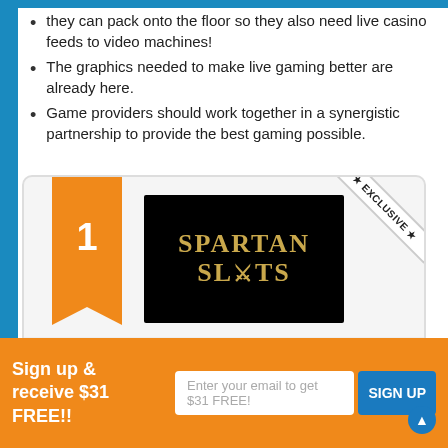they can pack onto the floor so they also need live casino feeds to video machines!
The graphics needed to make live gaming better are already here.
Game providers should work together in a synergistic partnership to provide the best gaming possible.
[Figure (infographic): Casino promotional card for Spartan Slots ranked #1 with EXCLUSIVE badge. Shows Welcome Offer of $2,000 + No Deposit Bonus of 25 Spins, with a GET BONUS button.]
Sign up & receive $31 FREE!! Enter your email to get $31 FREE! SIGN UP